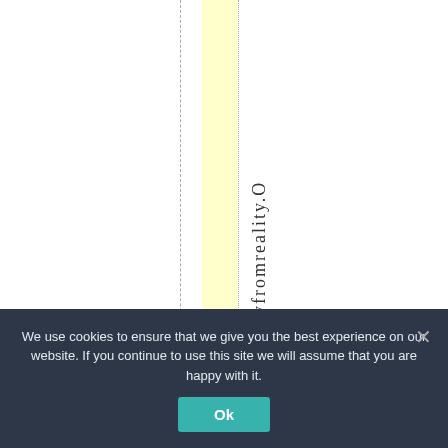eawayfromreality.O
We use cookies to ensure that we give you the best experience on our website. If you continue to use this site we will assume that you are happy with it.
Ok